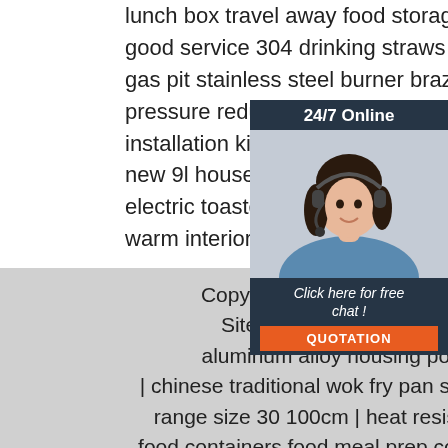lunch box travel away food storage container
good service 304 drinking straws stainless steel
gas pit stainless steel burner brazier stove
pressure reducing regulator valve hose installation kit
new 9l household smart pizza brea electric toaster oven light steel stai warm interior timer parts sales rohs
[Figure (photo): Customer service representative (woman with headset) with 24/7 Online chat widget, including 'Click here for free chat!' text and orange QUOTATION button]
Copyright © Aughta Technology (Shenzh Sitemap | 2021silver crest 3500w on aluminum alloy housing polished plate in | chinese traditional wok fry pan stainless steel handle range size 30 100cm | heat resistant microwavable food containers food meal prep containers bam lid wooden glass container